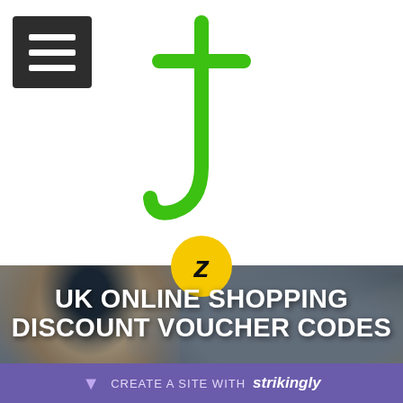[Figure (logo): TopVouchersCode green stylized 't' letter logo]
[Figure (logo): Yellow circle badge with italic 'z' letter]
[Figure (photo): Young woman with cap in urban background, photo overlay for shopping discount page]
UK ONLINE SHOPPING DISCOUNT VOUCHER CODES
TopVouchersCode.co.uk is a renowned website that offers shoppers free coupons and discount codes online on a wide selection of products to help them save smartly. These discounts can be feasibly availed by application of promo codes on online sho... The ...or its
[Figure (logo): Strikingly website builder banner bar at bottom: CREATE A SITE WITH strikingly]